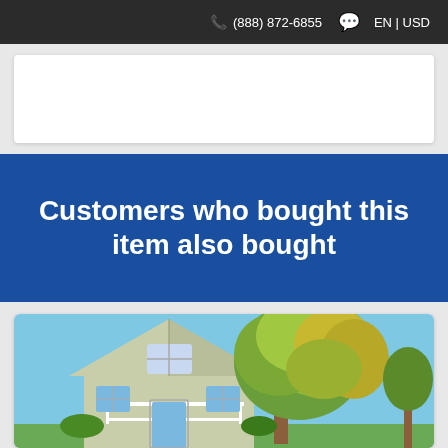(888) 872-6855  EN | USD
[Figure (other): White card placeholder area on grey background]
Customers who bought this item also bought
[Figure (photo): Photo of a light green/grey house with a pointed gable roof and a large yellow-green tree beside it, blue sky background]